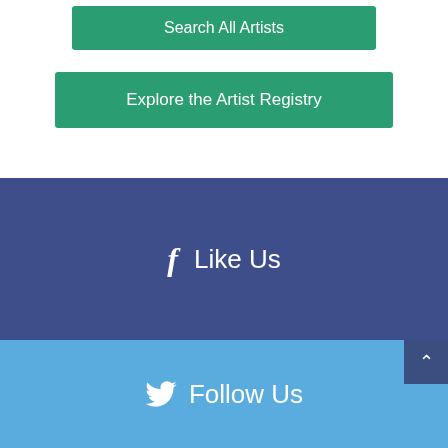[Figure (screenshot): Green button labeled 'Search All Artists' at top of page]
[Figure (screenshot): Green button labeled 'Explore the Artist Registry']
Like Us
Follow Us